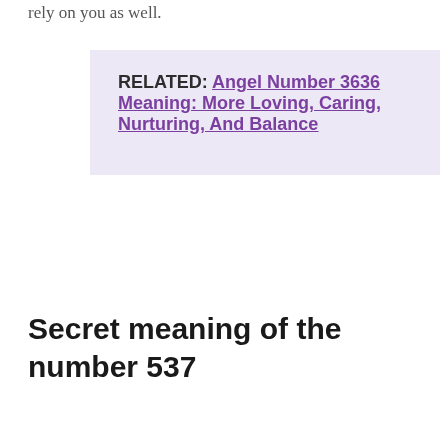rely on you as well.
RELATED: Angel Number 3636 Meaning: More Loving, Caring, Nurturing, And Balance
Secret meaning of the number 537